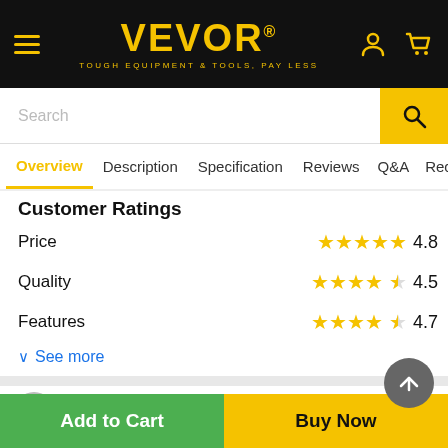VEVOR® - TOUGH EQUIPMENT & TOOLS, PAY LESS
Overview  Description  Specification  Reviews  Q&A  Reco
Customer Ratings
Price  ★★★★★ 4.8
Quality  ★★★★½ 4.5
Features  ★★★★½ 4.7
See more
DC23  Feb 28, 2022